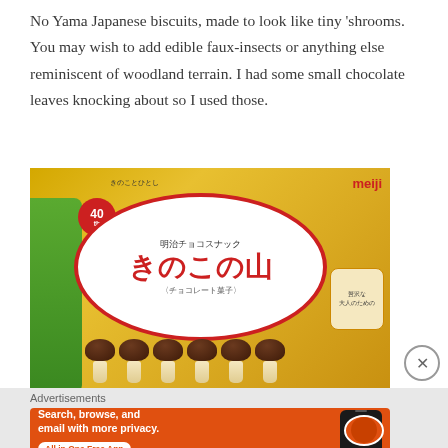No Yama Japanese biscuits, made to look like tiny 'shrooms. You may wish to add edible faux-insects or anything else reminiscent of woodland terrain. I had some small chocolate leaves knocking about so I used those.
[Figure (photo): Package of Meiji Kinoko no Yama (きのこの山) Japanese chocolate biscuits shaped like mushrooms, showing the product name in large Japanese characters on a white oval, with actual mushroom-shaped biscuits visible at the bottom, and the meiji brand logo in the top right corner.]
Advertisements
[Figure (screenshot): DuckDuckGo advertisement banner with orange background. Text reads: Search, browse, and email with more privacy. All in One Free App. Shows a smartphone image with DuckDuckGo logo and text.]